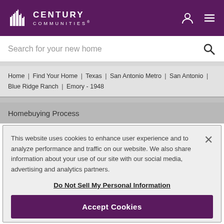Century Communities®
Search for your new home
Home | Find Your Home | Texas | San Antonio Metro | San Antonio | Blue Ridge Ranch | Emory - 1948
Homebuying Process
This website uses cookies to enhance user experience and to analyze performance and traffic on our website. We also share information about your use of our site with our social media, advertising and analytics partners.
Do Not Sell My Personal Information
Accept Cookies